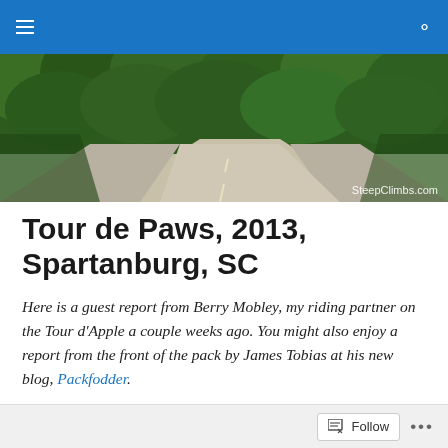SteepClimbs.com
[Figure (photo): A winding road curving through dense green tree foliage, header banner for SteepClimbs.com blog]
Tour de Paws, 2013, Spartanburg, SC
Here is a guest report from Berry Mobley, my riding partner on the Tour d'Apple a couple weeks ago. You might also enjoy a report from the front of the pack by James Tobias at his new blog, Packfodder.
Follow ...